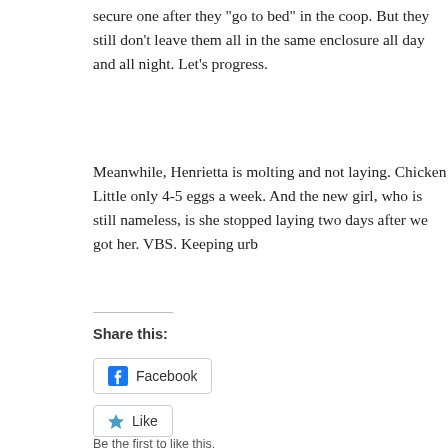secure one after they "go to bed" in the coop. But they still don't leave them all in the same enclosure all day and all night. Let's progress.
Meanwhile, Henrietta is molting and not laying. Chicken Little only 4-5 eggs a week. And the new girl, who is still nameless, is she stopped laying two days after we got her. VBS. Keeping urb
Share this:
Facebook
Like
Be the first to like this.
Related
Farewell to Henrietta, Hello to spring
February 20, 2015
Chicken woes o
July 1, 2015